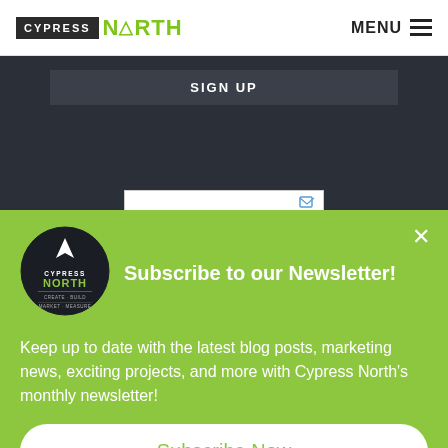CYPRESS NORTH | MENU
SIGN UP
[Figure (logo): Cypress North circular logo with dark background, arrow/compass icon at top, CYPRESS NORTH text and taglines]
Subscribe to our Newsletter!
Keep up to date with the latest blog posts, marketing news, exciting projects, and more with Cypress North's monthly newsletter!
Subscribe Now